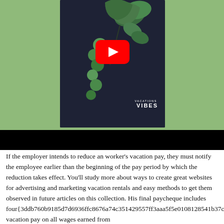[Figure (screenshot): YouTube video thumbnail with dark navy background, tropical leaf illustration, YouTube play button overlay, and text 'VACATIONS VIBES' in white. The thumbnail sits on a green background, with a black bar below.]
If the employer intends to reduce an worker's vacation pay, they must notify the employee earlier than the beginning of the pay period by which the reduction takes effect. You'll study more about ways to create great websites for advertising and marketing vacation rentals and easy methods to get them observed in future articles on this collection. His final paycheque includes four{3ddb760b9185d7d6936ffc8676a74c351429557ff3aaa5f5e0108128541b37c7} vacation pay on all wages earned from